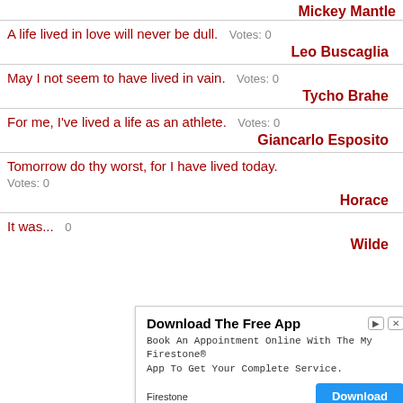Mickey Mantle
A life lived in love will never be dull.  Votes: 0
Leo Buscaglia
May I not seem to have lived in vain.  Votes: 0
Tycho Brahe
For me, I've lived a life as an athlete.  Votes: 0
Giancarlo Esposito
Tomorrow do thy worst, for I have lived today.  Votes: 0
Horace
It was...  Votes: 0
Wilde
[Figure (screenshot): Advertisement overlay: 'Download The Free App' with Firestone branding. Text: Book An Appointment Online With The My Firestone® App To Get Your Complete Service. Download button in blue.]